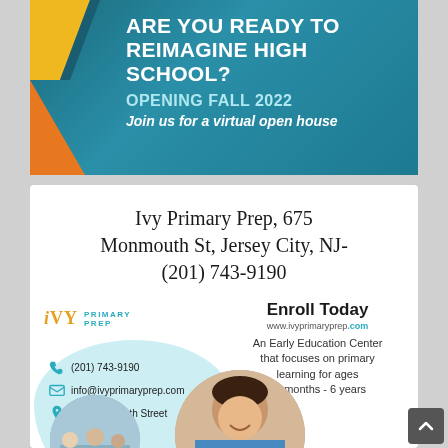[Figure (illustration): Teal banner advertisement for reimagining high school with geometric colored shapes (orange and yellow triangles) on the left, text overlaid on teal background. Text: ARE YOU READY TO REIMAGINE HIGH SCHOOL? OPENING FALL 2022 Join us for a virtual open house]
Ivy Primary Prep, 675 Monmouth St, Jersey City, NJ- (201) 743-9190
[Figure (illustration): Ivy Primary Prep advertisement card with logo, contact info, Enroll Today CTA, description of early education center for ages 18 months to 6 years, and photos of children in classroom]